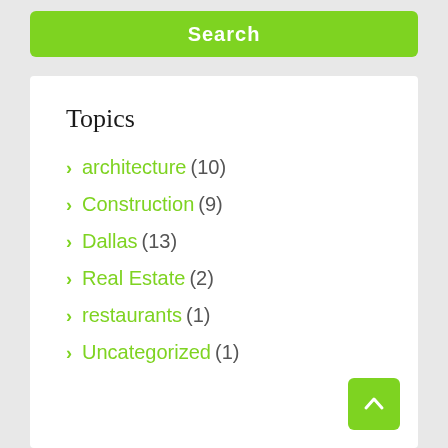[Figure (screenshot): Green Search button at top of page]
Topics
architecture (10)
Construction (9)
Dallas (13)
Real Estate (2)
restaurants (1)
Uncategorized (1)